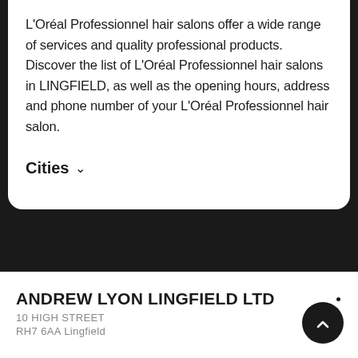L'Oréal Professionnel hair salons offer a wide range of services and quality professional products. Discover the list of L'Oréal Professionnel hair salons in LINGFIELD, as well as the opening hours, address and phone number of your L'Oréal Professionnel hair salon.
Cities ∨
ANDREW LYON LINGFIELD LTD
10 HIGH STREET
RH7 6AA Lingfield